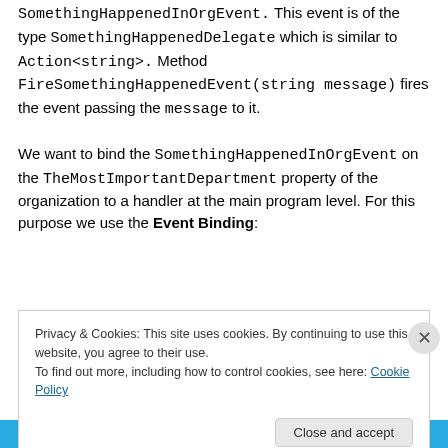SomethingHappenedInOrgEvent. This event is of the type SomethingHappenedDelegate which is similar to Action<string>. Method FireSomethingHappenedEvent(string message) fires the event passing the message to it.
We want to bind the SomethingHappenedInOrgEvent on the TheMostImportantDepartment property of the organization to a handler at the main program level. For this purpose we use the Event Binding:
Privacy & Cookies: This site uses cookies. By continuing to use this website, you agree to their use.
To find out more, including how to control cookies, see here: Cookie Policy